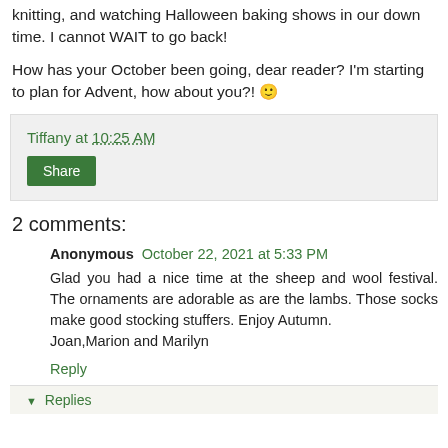knitting, and watching Halloween baking shows in our down time. I cannot WAIT to go back!
How has your October been going, dear reader? I'm starting to plan for Advent, how about you?! 😊
Tiffany at 10:25 AM
Share
2 comments:
Anonymous October 22, 2021 at 5:33 PM
Glad you had a nice time at the sheep and wool festival. The ornaments are adorable as are the lambs. Those socks make good stocking stuffers. Enjoy Autumn.
Joan,Marion and Marilyn
Reply
▾ Replies